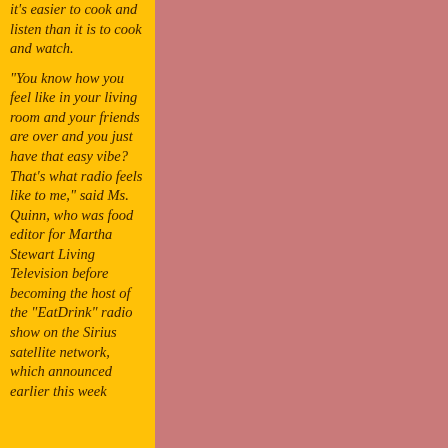it's easier to cook and listen than it is to cook and watch. "You know how you feel like in your living room and your friends are over and you just have that easy vibe? That's what radio feels like to me," said Ms. Quinn, who was food editor for Martha Stewart Living Television before becoming the host of the "EatDrink" radio show on the Sirius satellite network, which announced earlier this week